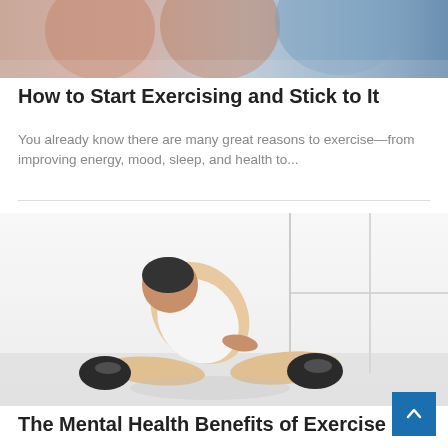[Figure (photo): Cropped top portion of people exercising at a gym, showing torsos and exercise equipment]
How to Start Exercising and Stick to It
You already know there are many great reasons to exercise—from improving energy, mood, sleep, and health to...
[Figure (photo): Person sitting on a gym floor stretching forward toward their feet, wearing a white tank top and dark sneakers, bright white room with grid windows in background. Category badge reads: GUIDE TO HEALTHY LIV...]
The Mental Health Benefits of Exercise